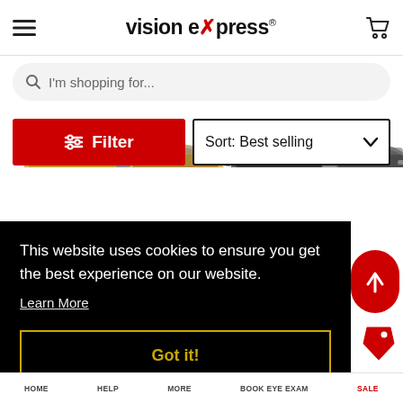[Figure (screenshot): Vision Express website header with hamburger menu, logo and cart icon]
[Figure (screenshot): Search bar with placeholder text 'I'm shopping for...']
[Figure (screenshot): Red Filter button and Sort: Best selling dropdown, with sunglasses products partially visible behind]
This website uses cookies to ensure you get the best experience on our website.
Learn More
Got it!
HOME   HELP   MORE   BOOK EYE EXAM   SALE